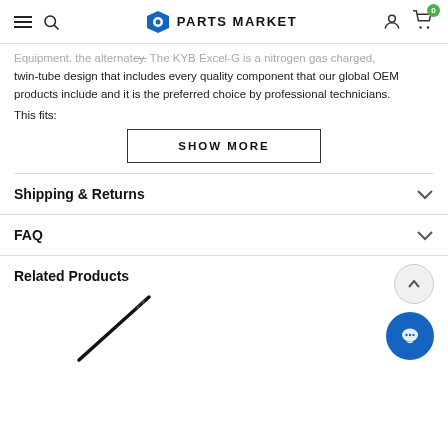PARTS MARKET
Equipment. The KYB Excel-G is a nitrogen gas charged, twin-tube design that includes every quality component that our global OEM products include and it is the preferred choice by professional technicians.
This fits:
SHOW MORE
Shipping & Returns
FAQ
Related Products